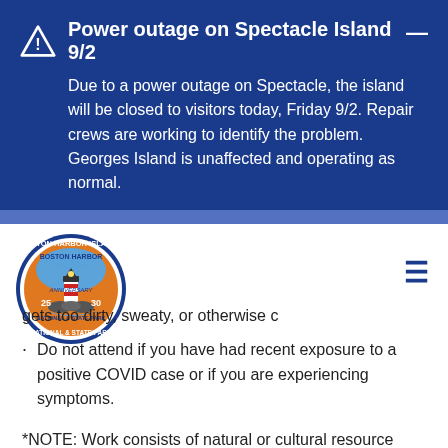Power outage on Spectacle Island 9/2
Due to a power outage on Spectacle, the island will be closed to visitors today, Friday 9/2. Repair crews are working to identify the problem. Georges Island is unaffected and operating as normal.
[Figure (logo): Boston Harbor Islands National & State Park 25th Anniversary circular logo with lighthouse and orange background]
gets too dirty, sweaty, or otherwise c
Do not attend if you have had recent exposure to a positive COVID case or if you are experiencing symptoms.
*NOTE: Work consists of natural or cultural resource field stewardship. Potential hazards include transit by boat, the use of hand tools, carrying moderate weight, working in